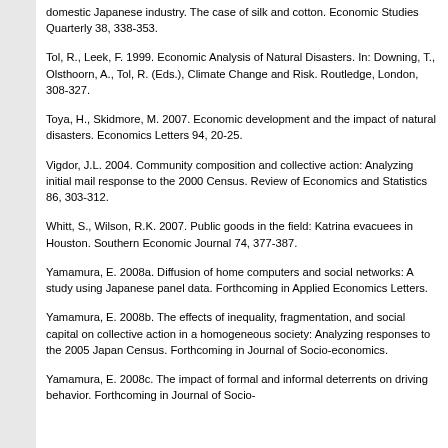domestic Japanese industry. The case of silk and cotton. Economic Studies Quarterly 38, 338-353.
Tol, R., Leek, F. 1999. Economic Analysis of Natural Disasters. In: Downing, T., Olsthoorn, A., Tol, R. (Eds.), Climate Change and Risk. Routledge, London, 308-327.
Toya, H., Skidmore, M. 2007. Economic development and the impact of natural disasters. Economics Letters 94, 20-25.
Vigdor, J.L. 2004. Community composition and collective action: Analyzing initial mail response to the 2000 Census. Review of Economics and Statistics 86, 303-312.
Whitt, S., Wilson, R.K. 2007. Public goods in the field: Katrina evacuees in Houston. Southern Economic Journal 74, 377-387.
Yamamura, E. 2008a. Diffusion of home computers and social networks: A study using Japanese panel data. Forthcoming in Applied Economics Letters.
Yamamura, E. 2008b. The effects of inequality, fragmentation, and social capital on collective action in a homogeneous society: Analyzing responses to the 2005 Japan Census. Forthcoming in Journal of Socio-economics.
Yamamura, E. 2008c. The impact of formal and informal deterrents on driving behavior. Forthcoming in Journal of Socio-